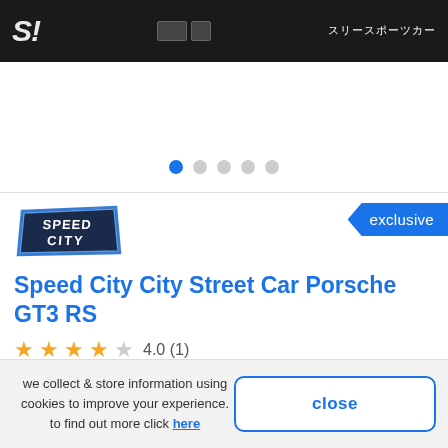[Figure (screenshot): Dark product image strip at the top showing partial text/logo in white on black background with Japanese characters on the right]
[Figure (other): Navigation dots: 5 dots in a row, first one filled blue (active), rest gray]
[Figure (logo): Speed City brand logo - stylized text on an angled badge with blue outline]
exclusive
Speed City City Street Car Porsche GT3 RS
4.0 (1)
ages: 3+ years
we collect & store information using cookies to improve your experience. to find out more click here
close